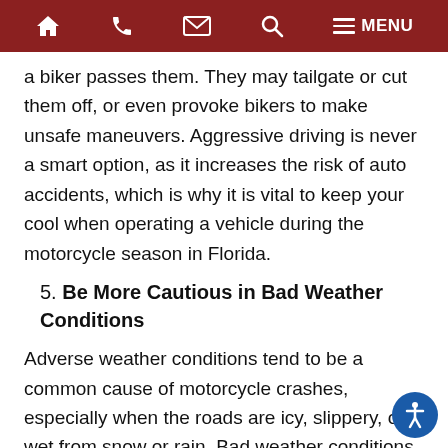Navigation bar with home, phone, email, search, and menu icons
a biker passes them. They may tailgate or cut them off, or even provoke bikers to make unsafe maneuvers. Aggressive driving is never a smart option, as it increases the risk of auto accidents, which is why it is vital to keep your cool when operating a vehicle during the motorcycle season in Florida.
5. Be More Cautious in Bad Weather Conditions
Adverse weather conditions tend to be a common cause of motorcycle crashes, especially when the roads are icy, slippery, or wet from snow or rain. Bad weather conditions can reduce a driver's visibility and increase the likelihood of a motorcyclist losing control of the bike.